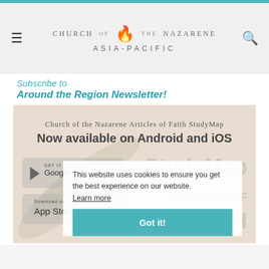Church of the Nazarene Asia-Pacific
Subscribe to
Around the Region Newsletter!
[Figure (screenshot): Church of the Nazarene Articles of Faith StudyMap app banner — Now available on Android and iOS, with Google Play and App Store download buttons, and watermark text 'StudyMap ARTICLES OF FAITH' on the right side]
This website uses cookies to ensure you get the best experience on our website. Learn more
Got it!